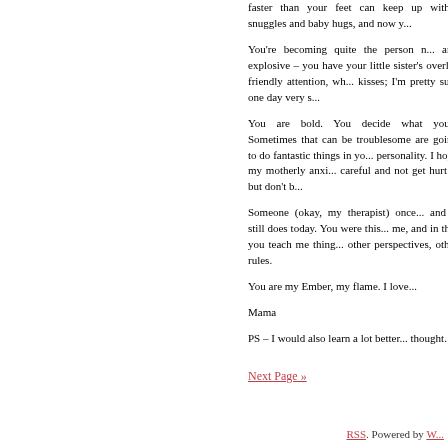faster than your feet can keep up with... snuggles and baby hugs, and now y...
You're becoming quite the person n... and explosive – you have your little sister's overly-friendly attention, wh... kisses; I'm pretty sure one day very s...
You are bold. You decide what you... Sometimes that can be troublesome are going to do fantastic things in yo... personality. I hope my motherly anxi... careful and not get hurt… but don't b...
Someone (okay, my therapist) once... and it still does today. You were this... me, and in that you teach me thing... other perspectives, other rules.
You are my Ember, my flame. I love...
Mama
PS – I would also learn a lot better... thought.
Next Page »
RSS. Powered by W...